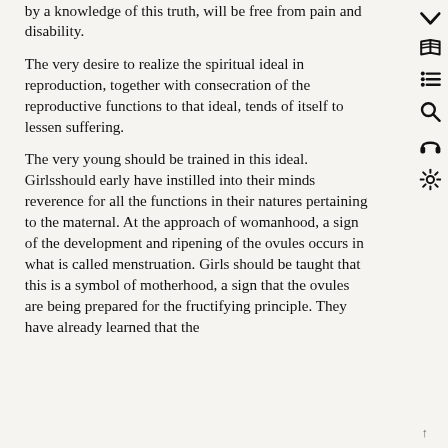by a knowledge of this truth, will be free from pain and disability.
The very desire to realize the spiritual ideal in reproduction, together with consecration of the reproductive functions to that ideal, tends of itself to lessen suffering.
The very young should be trained in this ideal. Girlsshould early have instilled into their minds reverence for all the functions in their natures pertaining to the maternal. At the approach of womanhood, a sign of the development and ripening of the ovules occurs in what is called menstruation. Girls should be taught that this is a symbol of motherhood, a sign that the ovules are being prepared for the fructifying principle. They have already learned that the